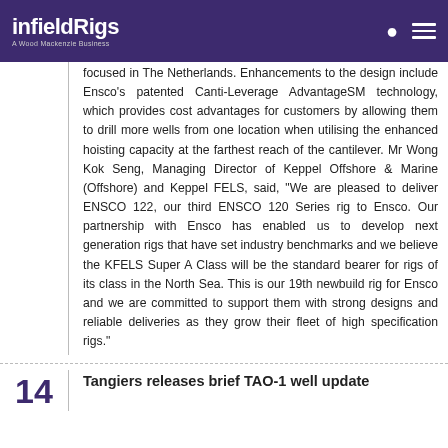infieldRigs — A Wood Mackenzie Business
focused in The Netherlands. Enhancements to the design include Ensco's patented Canti-Leverage AdvantageSM technology, which provides cost advantages for customers by allowing them to drill more wells from one location when utilising the enhanced hoisting capacity at the farthest reach of the cantilever. Mr Wong Kok Seng, Managing Director of Keppel Offshore & Marine (Offshore) and Keppel FELS, said, "We are pleased to deliver ENSCO 122, our third ENSCO 120 Series rig to Ensco. Our partnership with Ensco has enabled us to develop next generation rigs that have set industry benchmarks and we believe the KFELS Super A Class will be the standard bearer for rigs of its class in the North Sea. This is our 19th newbuild rig for Ensco and we are committed to support them with strong designs and reliable deliveries as they grow their fleet of high specification rigs."
Tangiers releases brief TAO-1 well update